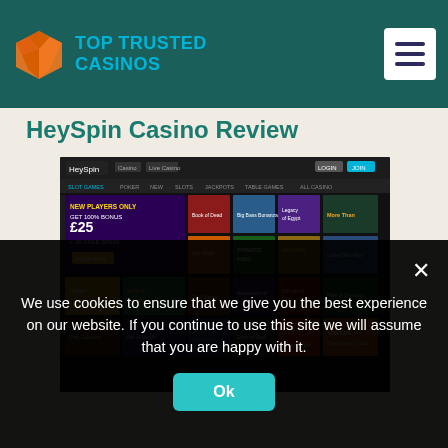Top Trusted Casinos
HeySpin Casino Review
[Figure (screenshot): Screenshot of the HeySpin Casino website showing a grid of slot games including Wolf Gold, Primate King, Anubis, and other games. The casino UI shows a dark themed navigation bar and game thumbnails.]
We use cookies to ensure that we give you the best experience on our website. If you continue to use this site we will assume that you are happy with it.